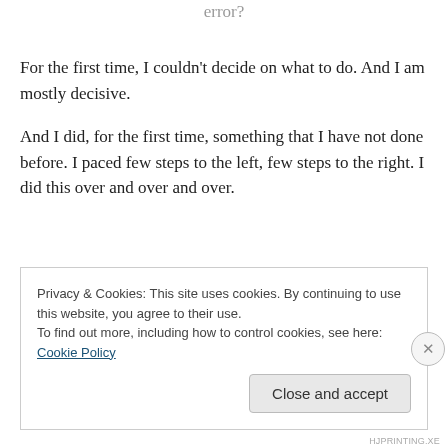error?
For the first time, I couldn't decide on what to do. And I am mostly decisive.
And I did, for the first time, something that I have not done before. I paced few steps to the left, few steps to the right. I did this over and over and over.
Privacy & Cookies: This site uses cookies. By continuing to use this website, you agree to their use.
To find out more, including how to control cookies, see here: Cookie Policy
HJPRINTING.XE